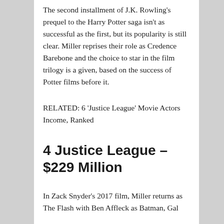The second installment of J.K. Rowling's prequel to the Harry Potter saga isn't as successful as the first, but its popularity is still clear. Miller reprises their role as Credence Barebone and the choice to star in the film trilogy is a given, based on the success of Potter films before it.
RELATED: 6 'Justice League' Movie Actors Income, Ranked
4 Justice League – $229 Million
In Zack Snyder's 2017 film, Miller returns as The Flash with Ben Affleck as Batman, Gal